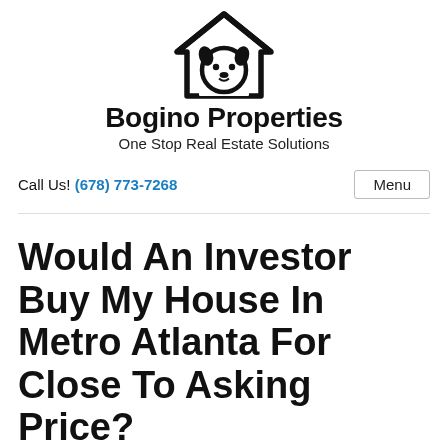[Figure (logo): Bogino Properties logo — a house outline with a cartoon dog face in the center, rendered in black]
Bogino Properties
One Stop Real Estate Solutions
Call Us! (678) 773-7268
Menu
Would An Investor Buy My House In Metro Atlanta For Close To Asking Price?
July 9, 2019